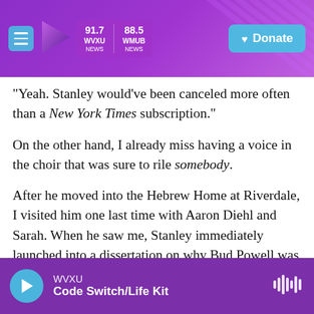WVXU 91.7 NEWS | 88.5 WMUB NEWS | Donate
"Yeah. Stanley would've been canceled more often than a New York Times subscription."
On the other hand, I already miss having a voice in the choir that was sure to rile somebody.
After he moved into the Hebrew Home at Riverdale, I visited him one last time with Aaron Diehl and Sarah. When he saw me, Stanley immediately launched into a dissertation on why Bud Powell was so much greater than Oscar Peterson. For a few minutes, it was perfect... but then cracks began to show, his talk started to run off the track. It was
WVXU | Code Switch/Life Kit